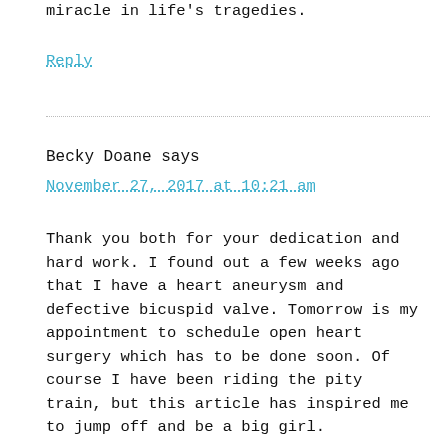miracle in life's tragedies.
Reply
Becky Doane says
November 27, 2017 at 10:21 am
Thank you both for your dedication and hard work. I found out a few weeks ago that I have a heart aneurysm and defective bicuspid valve. Tomorrow is my appointment to schedule open heart surgery which has to be done soon. Of course I have been riding the pity train, but this article has inspired me to jump off and be a big girl.